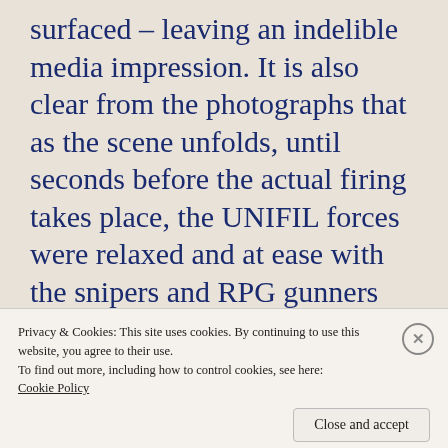surfaced – leaving an indelible media impression. It is also clear from the photographs that as the scene unfolds, until seconds before the actual firing takes place, the UNIFIL forces were relaxed and at ease with the snipers and RPG gunners taking careful aim at the
Privacy & Cookies: This site uses cookies. By continuing to use this website, you agree to their use.
To find out more, including how to control cookies, see here: Cookie Policy
Close and accept